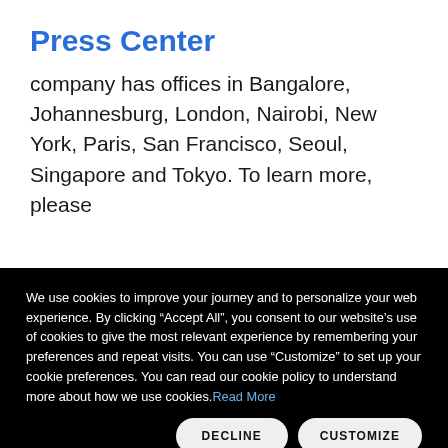Press Center
company has offices in Bangalore, Johannesburg, London, Nairobi, New York, Paris, San Francisco, Seoul, Singapore and Tokyo. To learn more, please
We use cookies to improve your journey and to personalize your web experience. By clicking “Accept All”, you consent to our website’s use of cookies to give the most relevant experience by remembering your preferences and repeat visits. You can use “Customize” to set up your cookie preferences. You can read our cookie policy to understand more about how we use cookies. Read More
DECLINE
CUSTOMIZE
ACCEPT ALL